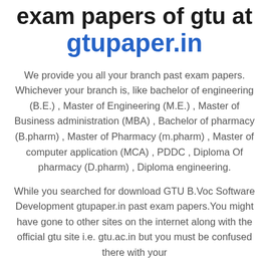exam papers of gtu at gtupaper.in
We provide you all your branch past exam papers. Whichever your branch is, like bachelor of engineering (B.E.) , Master of Engineering (M.E.) , Master of Business administration (MBA) , Bachelor of pharmacy (B.pharm) , Master of Pharmacy (m.pharm) , Master of computer application (MCA) , PDDC , Diploma Of pharmacy (D.pharm) , Diploma engineering.
While you searched for download GTU B.Voc Software Development gtupaper.in past exam papers.You might have gone to other sites on the internet along with the official gtu site i.e. gtu.ac.in but you must be confused there with your